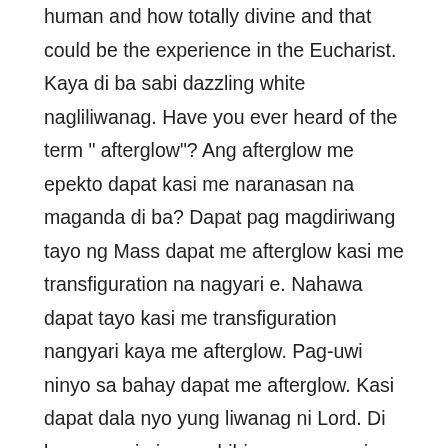human and how totally divine and that could be the experience in the Eucharist. Kaya di ba sabi dazzling white nagliliwanag. Have you ever heard of the term " afterglow"? Ang afterglow me epekto dapat kasi me naranasan na maganda di ba? Dapat pag magdiriwang tayo ng Mass dapat me afterglow kasi me transfiguration na nagyari e. Nahawa dapat tayo kasi me transfiguration nangyari kaya me afterglow. Pag-uwi ninyo sa bahay dapat me afterglow. Kasi dapat dala nyo yung liwanag ni Lord. Di ba pag-uwi ninyo sabihin ng asawa ninyo bakit kumukulimlim ata. Bakit ganun walang afterglow? Dapat me afterglow. You see and that’s why the same experience should be there. But we go to the third moment. They have to go down the mountain. That is very symbolic of something. Lord we wish to stay here but they have to go down. It is the challenge of mission. That is actually what happens to us. After any Mass, after the transfiguration happening in the Eucharist we have to go back home, back to our school, to our offices, wherever we are, we share the Good News. We proclaim the Gospel to our brothers.